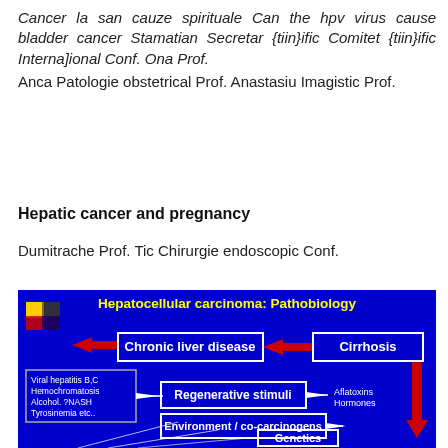Cancer la san cauze spirituale Can the hpv virus cause bladder cancer Stamatian Secretar {tiin}ific Comitet {tiin}ific Interna]ional Conf. Ona Prof. Anca Patologie obstetrical Prof. Anastasiu Imagistic Prof.
Hepatic cancer and pregnancy
Dumitrache Prof. Tic Chirurgie endoscopic Conf.
[Figure (infographic): Hepatocellular carcinoma: Pathobiology diagram on dark blue background showing boxes and arrows: Chronic liver disease → Cirrhosis; Viral hepatitis B,C / Hemochromatosis / Alcohol. ?NASH / Tyrosinemia etc.. → Regenerative stimuli →; Environment / co-carcinogens →; Aflatoxins / Hormones; Genetics box at bottom]